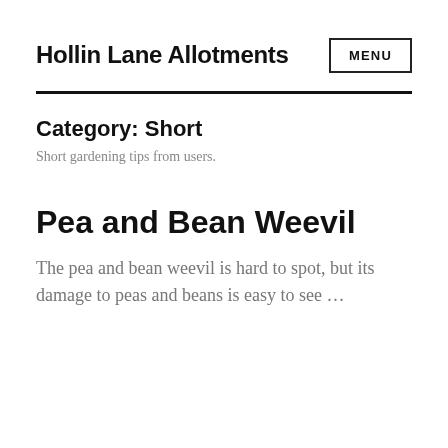Hollin Lane Allotments
Category: Short
Short gardening tips from users.
Pea and Bean Weevil
The pea and bean weevil is hard to spot, but its damage to peas and beans is easy to see …